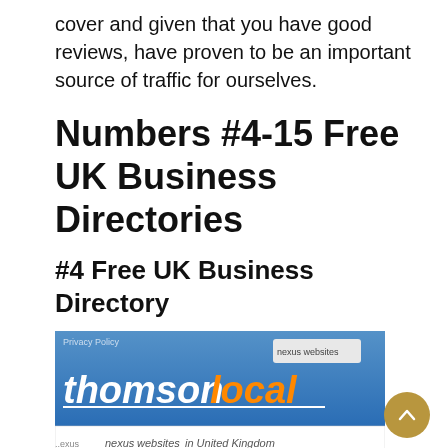cover and given that you have good reviews, have proven to be an important source of traffic for ourselves.
Numbers #4-15 Free UK Business Directories
#4 Free UK Business Directory
[Figure (screenshot): Screenshot of Thomson Local website showing the 'thomsonlocal' logo with orange and white text on a blue background, with text 'nexus websites in United Kingdom']
Thompson Local – This brand is also very well known due to the diversity and advertising they do across the UK. Like yell, very much worth a free listing however we’re not in a